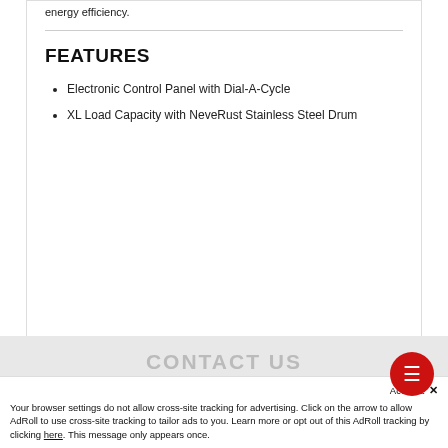energy efficiency.
FEATURES
Electronic Control Panel with Dial-A-Cycle
XL Load Capacity with NeveRust Stainless Steel Drum
CONTACT US
Accept  ×
Your browser settings do not allow cross-site tracking for advertising. Click on the arrow to allow AdRoll to use cross-site tracking to tailor ads to you. Learn more or opt out of this AdRoll tracking by clicking here. This message only appears once.